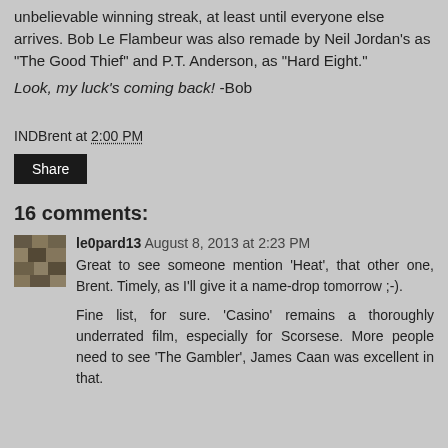unbelievable winning streak, at least until everyone else arrives. Bob Le Flambeur was also remade by Neil Jordan's as "The Good Thief" and P.T. Anderson, as "Hard Eight."
Look, my luck's coming back! -Bob
INDBrent at 2:00 PM
Share
16 comments:
le0pard13  August 8, 2013 at 2:23 PM
Great to see someone mention 'Heat', that other one, Brent. Timely, as I'll give it a name-drop tomorrow ;-).
Fine list, for sure. 'Casino' remains a thoroughly underrated film, especially for Scorsese. More people need to see 'The Gambler', James Caan was excellent in that.